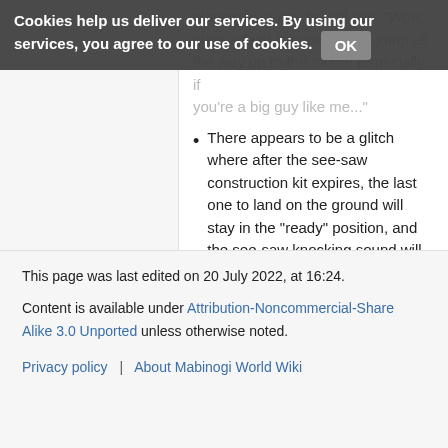Cookies help us deliver our services. By using our services, you agree to our use of cookies. OK
playing as a pet, he will say, "Wow, quite a feat! It's not easy to jump all the way up to the moon! Especially if you're a big guy like me..."
There appears to be a glitch where after the see-saw construction kit expires, the last one to land on the ground will stay in the "ready" position, and the see-saw knocking sound will be heard repetitively.
Categories: Nexon Events (2010) | Anniversary Events
This page was last edited on 20 July 2022, at 16:24.
Content is available under Attribution-Noncommercial-Share Alike 3.0 Unported unless otherwise noted.
Privacy policy   About Mabinogi World Wiki